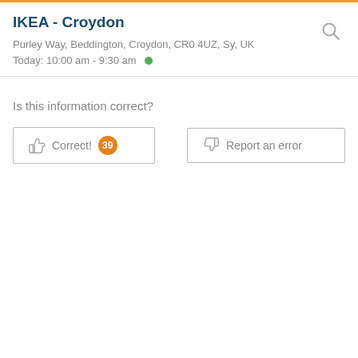IKEA - Croydon
Purley Way, Beddington, Croydon, CR0 4UZ, Sy, UK
Today: 10:00 am - 9:30 am
Is this information correct?
Correct! 39
Report an error